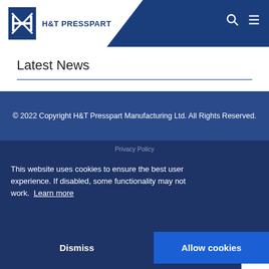H&T PRESSPART
Latest News
© 2022 Copyright H&T Presspart Manufacturing Ltd. All Rights Reserved.
Privacy Policy
Privacy Settings
Supplier Terms & Conditions
Terms & Conditions of Purchase
Imprint
Website by Parker Design
This website uses cookies to ensure the best user experience. If disabled, some functionality may not work.  Learn more
Dismiss
Allow cookies